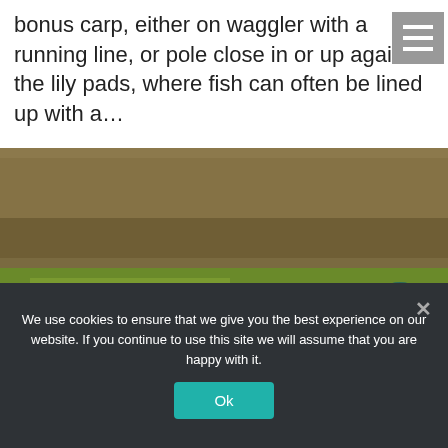bonus carp, either on waggler with a running line, or pole close in or up against the lily pads, where fish can often be lined up with a...
[Figure (photo): Two anglers on a wooden fishing platform beside a lake or pond. One is seated holding a long fishing pole, the other is standing behind. Water in the foreground, green reeds and grass visible, autumn trees in the background.]
We use cookies to ensure that we give you the best experience on our website. If you continue to use this site we will assume that you are happy with it.